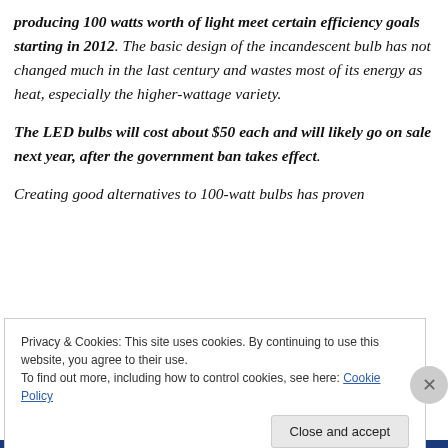producing 100 watts worth of light meet certain efficiency goals starting in 2012. The basic design of the incandescent bulb has not changed much in the last century and wastes most of its energy as heat, especially the higher-wattage variety.
The LED bulbs will cost about $50 each and will likely go on sale next year, after the government ban takes effect.
Creating good alternatives to 100-watt bulbs has proven
Privacy & Cookies: This site uses cookies. By continuing to use this website, you agree to their use.
To find out more, including how to control cookies, see here: Cookie Policy